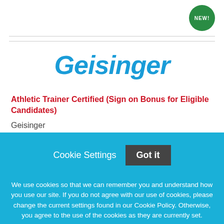[Figure (logo): Green circular badge with text NEW! in white letters, top right corner]
Geisinger
Athletic Trainer Certified (Sign on Bonus for Eligible Candidates)
Geisinger
Cookie Settings   Got it
We use cookies so that we can remember you and understand how you use our site. If you do not agree with our use of cookies, please change the current settings found in our Cookie Policy. Otherwise, you agree to the use of the cookies as they are currently set.